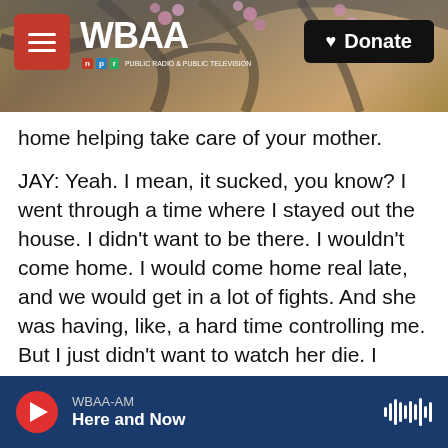[Figure (screenshot): WBAA radio website header banner with tree/cherry blossom background, red hamburger menu, WBAA NPR logo, and black Donate button]
home helping take care of your mother.
JAY: Yeah. I mean, it sucked, you know? I went through a time where I stayed out the house. I didn't want to be there. I wouldn't come home. I would come home real late, and we would get in a lot of fights. And she was having, like, a hard time controlling me. But I just didn't want to watch her die. I didn't want to be in the house. I just - I was just trying to run - run, a theme that I had to break out of. But, yeah, just trying to not be there. You know what I mean? And it was hard because I resented her a little bit. I didn't want to have to do stuff for
WBAA-AM  Here and Now